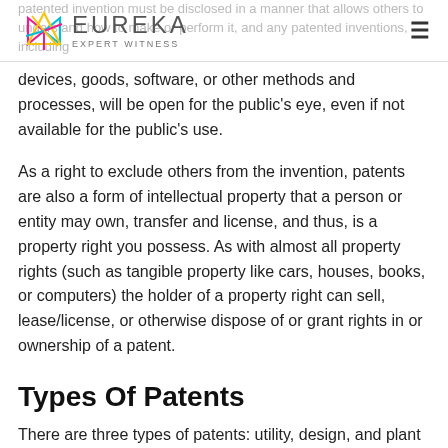EUREKA EXPERT WITNESS
patented invention must be disclosed in a manner that allows others to understand how to make or perform it, and any patented inventions, including devices, goods, software, or other methods and processes, will be open for the public's eye, even if not available for the public's use.
As a right to exclude others from the invention, patents are also a form of intellectual property that a person or entity may own, transfer and license, and thus, is a property right you possess. As with almost all property rights (such as tangible property like cars, houses, books, or computers) the holder of a property right can sell, lease/license, or otherwise dispose of or grant rights in or ownership of a patent.
Types Of Patents
There are three types of patents: utility, design, and plant